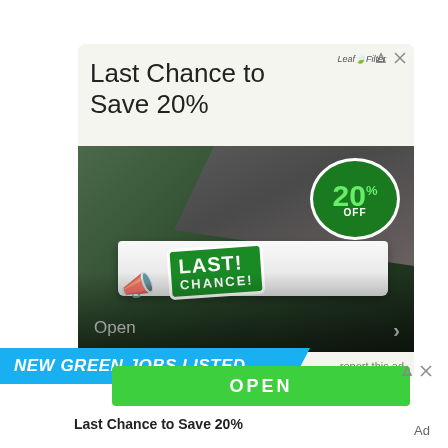[Figure (screenshot): Advertisement for LeafFilter: 'Last Chance to Save 20%' with gutter guard product image showing 20% off badge and LAST CHANCE sticker overlay. Ezoic ad attribution shown below.]
NEW GREEN JOBS LISTED
OPEN
Last Chance to Save 20%
Ad